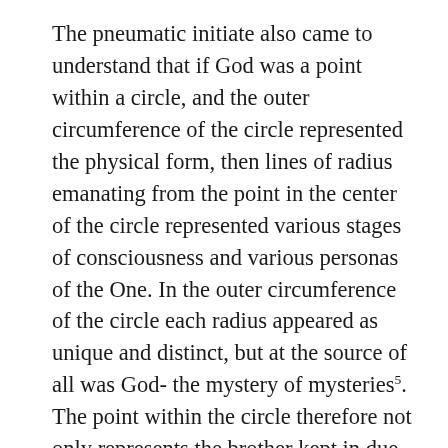The pneumatic initiate also came to understand that if God was a point within a circle, and the outer circumference of the circle represented the physical form, then lines of radius emanating from the point in the center of the circle represented various stages of consciousness and various personas of the One. In the outer circumference of the circle each radius appeared as unique and distinct, but at the source of all was God- the mystery of mysteries5. The point within the circle therefore not only represents the brother kept in due bounds, but in ancient symbolism it symbolized gold and the sun, and it was a symbol found in part of the Gnostic initiation process. Getting to the center of the circle was the path of Gnosis, which is why Christ said that those who came before him were baptized with water and air, but he came to baptize with fire. Fire represented